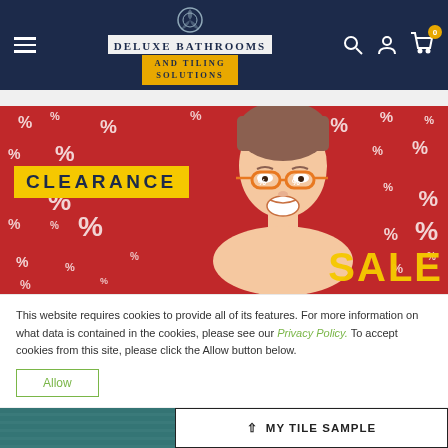DELUXE BATHROOMS AND TILING SOLUTIONS
[Figure (screenshot): Clearance Sale promotional banner with red background, percentage signs, woman wearing orange sunglasses, yellow CLEARANCE text box and SALE text in yellow]
This website requires cookies to provide all of its features. For more information on what data is contained in the cookies, please see our Privacy Policy. To accept cookies from this site, please click the Allow button below.
Allow
MY TILE SAMPLE